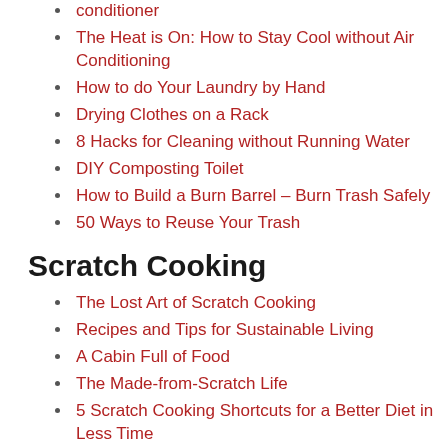conditioner
The Heat is On: How to Stay Cool without Air Conditioning
How to do Your Laundry by Hand
Drying Clothes on a Rack
8 Hacks for Cleaning without Running Water
DIY Composting Toilet
How to Build a Burn Barrel – Burn Trash Safely
50 Ways to Reuse Your Trash
Scratch Cooking
The Lost Art of Scratch Cooking
Recipes and Tips for Sustainable Living
A Cabin Full of Food
The Made-from-Scratch Life
5 Scratch Cooking Shortcuts for a Better Diet in Less Time